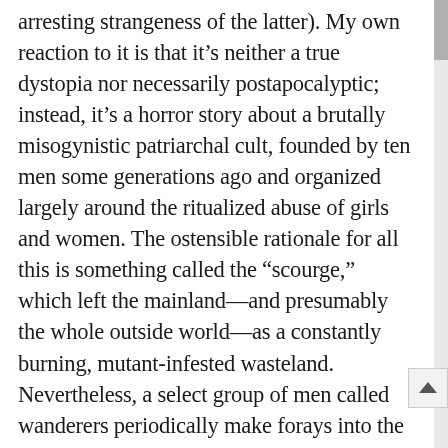arresting strangeness of the latter). My own reaction to it is that it's neither a true dystopia nor necessarily postapocalyptic; instead, it's a horror story about a brutally misogynistic patriarchal cult, founded by ten men some generations ago and organized largely around the ritualized abuse of girls and women. The ostensible rationale for all this is something called the “scourge,” which left the mainland—and presumably the whole outside world—as a constantly burning, mutant-infested wasteland. Nevertheless, a select group of men called wanderers periodically make forays into the wastelands to bring back supplies, and in the case of one nonconforming father, books.